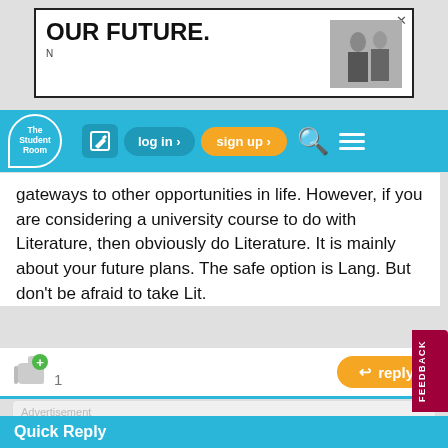[Figure (screenshot): Top advertisement banner with text 'OUR FUTURE.' and 'N', with an image of two people on the right and a close button]
[Figure (screenshot): The Student Room navigation bar with logo, edit icon, log in button, sign up button, search icon, and menu icon]
gateways to other opportunities in life. However, if you are considering a university course to do with Literature, then obviously do Literature. It is mainly about your future plans. The safe option is Lang. But don't be afraid to take Lit.
[Figure (screenshot): Like button with +1 and orange reply button]
[Figure (screenshot): Advertisement section: 'From starting a business to maintaining success - find tips and tricks here.' with 'Visit the TSR business hub »' button and The Student Room logo]
start new discussion >
Quick Reply